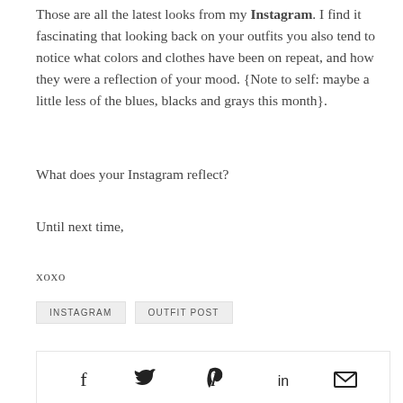Those are all the latest looks from my Instagram. I find it fascinating that looking back on your outfits you also tend to notice what colors and clothes have been on repeat, and how they were a reflection of your mood. {Note to self: maybe a little less of the blues, blacks and grays this month}.
What does your Instagram reflect?
Until next time,
xoxo
INSTAGRAM   OUTFIT POST
[Figure (infographic): Social sharing icons row: Facebook, Twitter, Pinterest, LinkedIn, Email (envelope)]